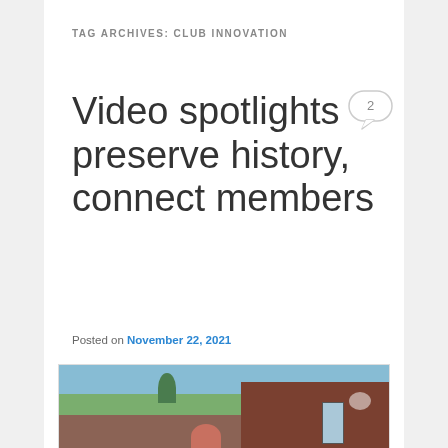TAG ARCHIVES: CLUB INNOVATION
Video spotlights preserve history, connect members
Posted on November 22, 2021
[Figure (photo): Photo of people outside a brick building with trees in background]